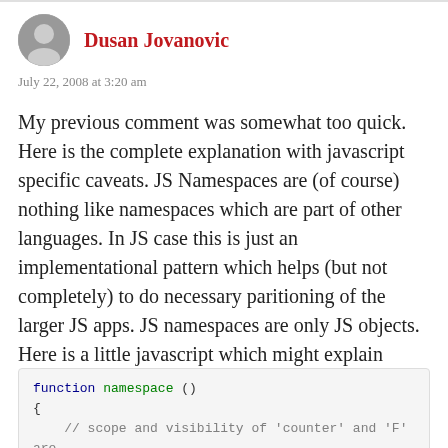Dusan Jovanovic
July 22, 2008 at 3:20 am
My previous comment was somewhat too quick. Here is the complete explanation with javascript specific caveats. JS Namespaces are (of course) nothing like namespaces which are part of other languages. In JS case this is just an implementational pattern which helps (but not completely) to do necessary paritioning of the larger JS apps. JS namespaces are only JS objects.
Here is a little javascript which might explain clrealy the pros and cons of JS namespace.
[Figure (screenshot): Code block showing beginning of a JavaScript function: 'function namespace ()' followed by '{' and a comment '// scope and visibility of \'counter\' and \'F\' are' with another line starting 'var counter']